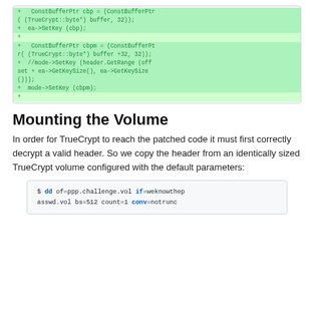[Figure (other): Diff code block showing added lines with green highlighting: ConstBufferPtr cbp and cbpm assignments, SetKey calls, and a commented-out mode->SetKey line]
Mounting the Volume
In order for TrueCrypt to reach the patched code it must first correctly decrypt a valid header. So we copy the header from an identically sized TrueCrypt volume configured with the default parameters:
[Figure (other): Code block showing shell command: $ dd of=ppp.challenge.vol if=weknowthepasswd.vol bs=512 count=1 conv=notrunc]